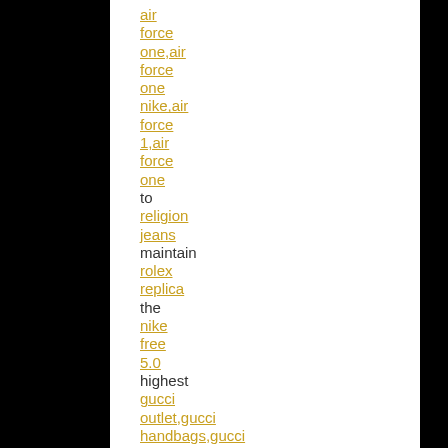air force one,air force one nike,air force 1,air force one to religion jeans maintain rolex replica the nike free 5.0 highest gucci outlet,gucci handbags,gucci belts,gucci shoes,gucci,gucci belt,gucci sunglasses,gucci bags,cheap gucci strategic interests